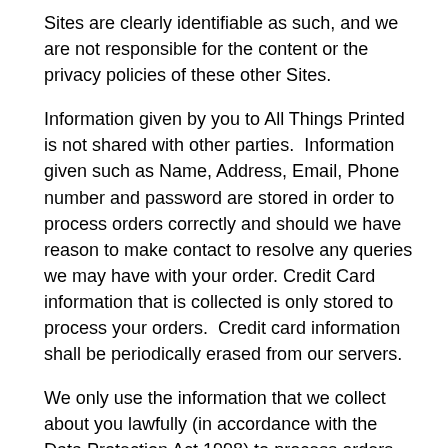Sites are clearly identifiable as such, and we are not responsible for the content or the privacy policies of these other Sites.
Information given by you to All Things Printed is not shared with other parties.  Information given such as Name, Address, Email, Phone number and password are stored in order to process orders correctly and should we have reason to make contact to resolve any queries we may have with your order. Credit Card information that is collected is only stored to process your orders.  Credit card information shall be periodically erased from our servers.
We only use the information that we collect about you lawfully (in accordance with the Data Protection Act 1998) to process orders.
Sale of Business